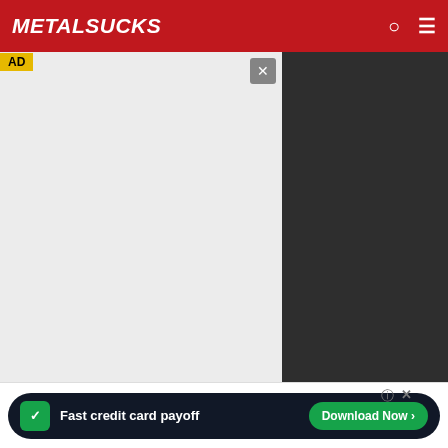MetalSucks
[Figure (screenshot): Advertisement overlay on MetalSucks website, light gray background with close button]
| Artist | Listeners | Change | % | Listeners2 | Change2 | %2 |
| --- | --- | --- | --- | --- | --- | --- |
| Fever 333 | 665,409 | ↑665,409 | 100.00% |  |  |  |
| Dokken | 655,585 | ↓-24,857 | -3.79% | 680,442 | ↑13,745 | 2.06% |
| August Burns Red | 654,813 | ↓-17,494 | -2.67% | 672,307 | ↓-1,029 | -0.15% |
| Suicidal Tendencies | 653,271 | ↓-1,383 | -0.21% | 654,654 | ↓-14,766 | -2.21% |
| Arch Enemy | 653,018 | ↑3,943 | 0.60% | 649,075 | ↑9,365 | 1.46% |
| Children of Bodom | 650,828 | ↓-17,935 | -2.76% | 668,763 | ↓-2,015 | -0.30% |
| Fear Factory | 629,814 | ↓-6,663 | -1.06% | 636,477 | ↓-449 | -0.07% |
| Testament | … | … | 0.11% | … | … |  |
| Clutch | … | … | -6.50% | … | … |  |
| Bahyme | … | … |  | … | … |  |
[Figure (screenshot): Tally app advertisement: Fast credit card payoff with Download Now button]